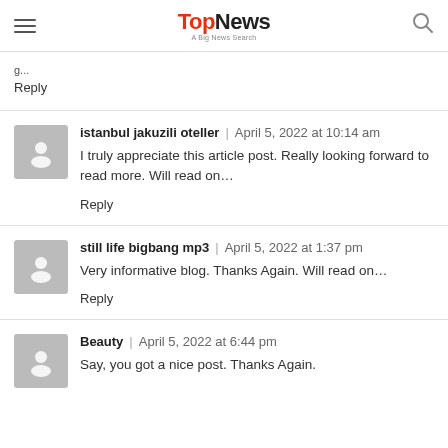TopNews - A Big News Search
Reply
istanbul jakuzili oteller | April 5, 2022 at 10:14 am
I truly appreciate this article post. Really looking forward to read more. Will read on…
Reply
still life bigbang mp3 | April 5, 2022 at 1:37 pm
Very informative blog. Thanks Again. Will read on…
Reply
Beauty | April 5, 2022 at 6:44 pm
Say, you got a nice post. Thanks Again.